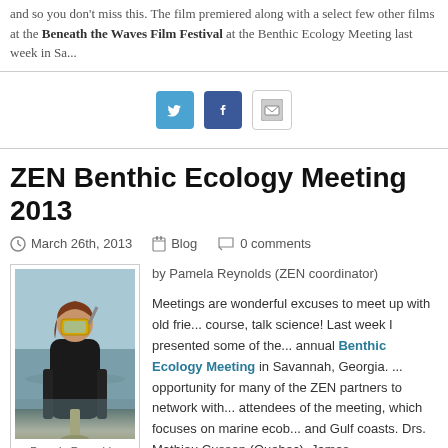and so you don't miss this. The film premiered along with a select few other films at the Beneath the Waves Film Festival at the Benthic Ecology Meeting last week in Sa...
[Figure (infographic): Social sharing buttons: Twitter (blue bird icon), Facebook (blue F icon), Email (grey envelope icon)]
ZEN Benthic Ecology Meeting 2013
March 26th, 2013   Blog   0 comments
[Figure (photo): Photo of Pamela Reynolds, a woman in a black wetsuit with yellow diving mask/snorkel, standing in shallow water holding a tool. Caption: Pamela Reynolds, ZEN Coordinator]
by Pamela Reynolds (ZEN coordinator)
Meetings are wonderful excuses to meet up with old frie... course, talk science! Last week I presented some of the ... annual Benthic Ecology Meeting in Savannah, Georgia. ... opportunity for many of the ZEN partners to network with... attendees of the meeting, which focuses on marine ecob... and Gulf coasts. Drs. Mathieu Cusson (Quebec), James... (Massachusetts/Florida), Kevin Hovel (California), and B...